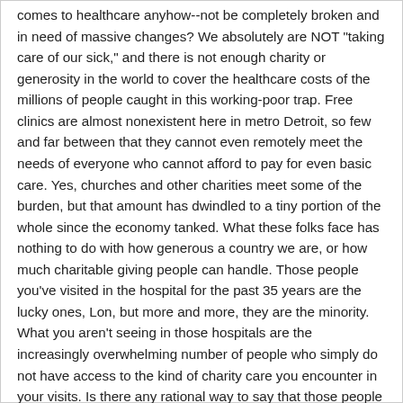comes to healthcare anyhow--not be completely broken and in need of massive changes? We absolutely are NOT "taking care of our sick," and there is not enough charity or generosity in the world to cover the healthcare costs of the millions of people caught in this working-poor trap. Free clinics are almost nonexistent here in metro Detroit, so few and far between that they cannot even remotely meet the needs of everyone who cannot afford to pay for even basic care. Yes, churches and other charities meet some of the burden, but that amount has dwindled to a tiny portion of the whole since the economy tanked. What these folks face has nothing to do with how generous a country we are, or how much charitable giving people can handle. Those people you've visited in the hospital for the past 35 years are the lucky ones, Lon, but more and more, they are the minority. What you aren't seeing in those hospitals are the increasingly overwhelming number of people who simply do not have access to the kind of charity care you encounter in your visits. Is there any rational way to say that those people do not deserve the exact same level of care as those who were lucky enough to receive the charitable assistance? Too many people are falling through the cracks today, cracks that have become Grand Canyon-sized craters. The system is broken at its most fundamental levels